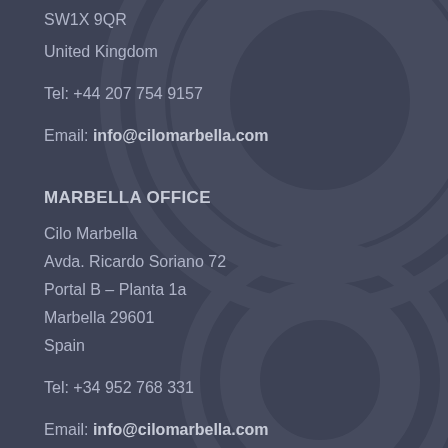SW1X 9QR
United Kingdom
Tel: +44 207 754 9157
Email: info@cilomarbella.com
MARBELLA OFFICE
Cilo Marbella
Avda. Ricardo Soriano 72
Portal B – Planta 1a
Marbella 29601
Spain
Tel: +34 952 768 331
Email: info@cilomarbella.com